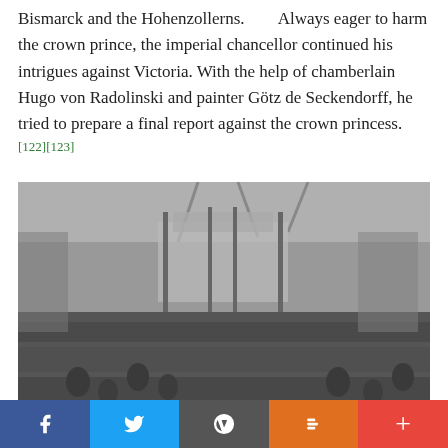Bismarck and the Hohenzollerns. Always eager to harm the crown prince, the imperial chancellor continued his intrigues against Victoria. With the help of chamberlain Hugo von Radolinski and painter Götz de Seckendorff, he tried to prepare a final report against the crown princess.[122][123]
[Figure (photo): Black and white historical photograph of Emperor William I's funeral procession, showing crowds of people in a public square with flags and a decorated structure in the background.]
Emperor William I's funeral procession
Because the health of the crown prince did not improve, Mackenzie advised him to go to Italy to undergo treatment. Frederick and Victoria went to San Remo in September 1887, causing outrage in Berlin because, despite the continued deterioration in the emperor's health, the couple didn't return to the capital. In early November, Frederick completely lost the use of speech and German doctors were summoned by Victoria to San Remo for further examinations. Finally, he was
Facebook Twitter WordPress Blogger +